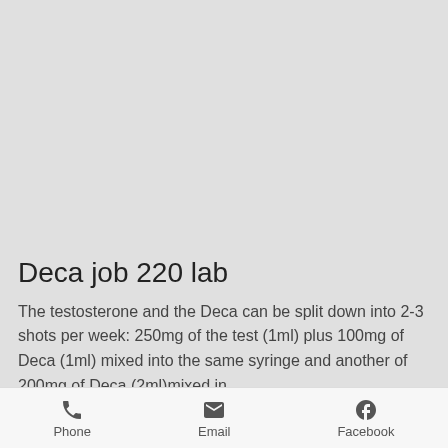[Figure (other): Large grey placeholder image area filling top portion of the screen]
Deca job 220 lab
The testosterone and the Deca can be split down into 2-3 shots per week: 250mg of the test (1ml) plus 100mg of Deca (1ml) mixed into the same syringe and another of 200mg of Deca (2ml)mixed in
Phone   Email   Facebook